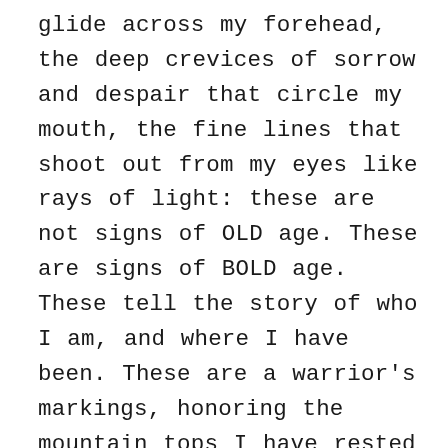glide across my forehead, the deep crevices of sorrow and despair that circle my mouth, the fine lines that shoot out from my eyes like rays of light: these are not signs of OLD age. These are signs of BOLD age. These tell the story of who I am, and where I have been. These are a warrior's markings, honoring the mountain tops I have rested on, the deep valleys I have completely crumbled in, and every place in between. Like the black ink on a child's bedroom wall that charts his growth, these are my growth chartings. They are quite